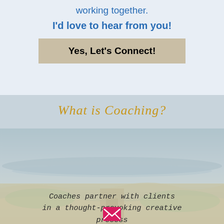working together.
I'd love to hear from you!
Yes, Let's Connect!
What is Coaching?
Coaches partner with clients in a thought-provoking creative process that inspires them to maximize their personal and professional potential. The process of coaching often unlocks internal sources of imagination, productivity, and
[Figure (illustration): Beach/coastal landscape background image with sandy path and grassy dunes]